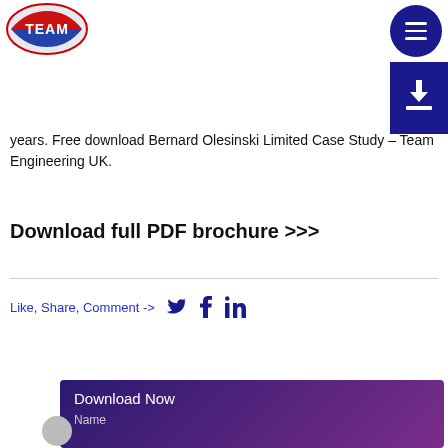TEAM Engineering UK
the first naval architects to recognize the benefits of 3D computer-aided design (CAD), which it has been using for years. Free download Bernard Olesinski Limited Case Study – Team Engineering UK.
Download full PDF brochure >>>
Like, Share, Comment ->
Download Now
Name